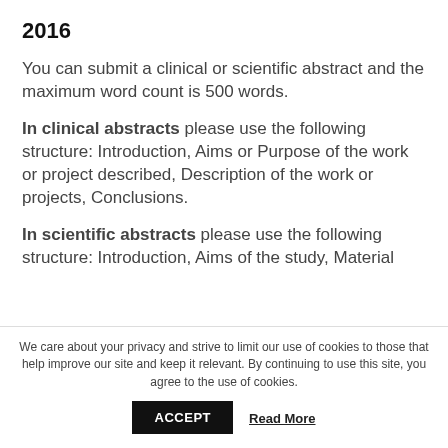2016
You can submit a clinical or scientific abstract and the maximum word count is 500 words.
In clinical abstracts please use the following structure: Introduction, Aims or Purpose of the work or project described, Description of the work or projects, Conclusions.
In scientific abstracts please use the following structure: Introduction, Aims of the study, Material and Methods, Results, Conclusions.
We care about your privacy and strive to limit our use of cookies to those that help improve our site and keep it relevant. By continuing to use this site, you agree to the use of cookies.
ACCEPT
Read More